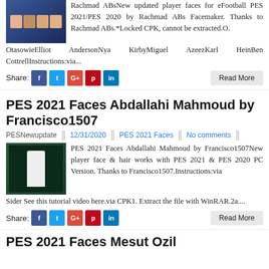Rachmad ABsNew updated player faces for eFootball PES 2021/PES 2020 by Rachmad ABs Facemaker. Thanks to Rachmad ABs.*Locked CPK, cannot be extracted.O. OtasowieElliot AndersonNya KirbyMiguel AzeezKarl HeinBen CottrellInstructions:via...
Share: f t G+ p in
Read More
PES 2021 Faces Abdallahi Mahmoud by Francisco1507
PESNewupdate  12/31/2020  PES 2021 Faces  No comments
PES 2021 Faces Abdallahi Mahmoud by Francisco1507New player face & hair works with PES 2021 & PES 2020 PC Version. Thanks to Francisco1507.Instructions:via Sider See this tutorial video here.via CPK1. Extract the file with WinRAR.2a....
Share: f t G+ p in
Read More
PES 2021 Faces Mesut Ozil